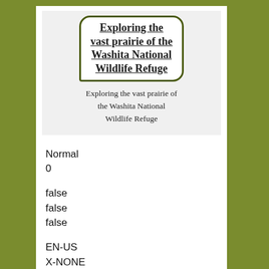[Figure (illustration): A document preview box showing a speech bubble with underlined bold text 'Exploring the vast prairie of the Washita National Wildlife Refuge' and below it the same text as a caption in normal style.]
Exploring the vast prairie of the Washita National Wildlife Refuge
Normal
0
false
false
false
EN-US
X-NONE
X-NONE